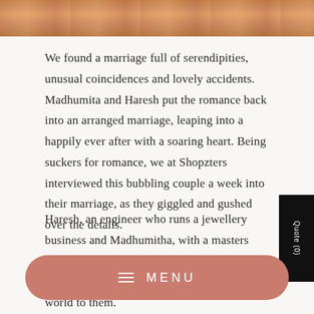[Figure (photo): Top portion of a colorful Indian wedding photo showing people in traditional attire with vibrant colors]
We found a marriage full of serendipities, unusual coincidences and lovely accidents. Madhumita and Haresh put the romance back into an arranged marriage, leaping into a happily ever after with a soaring heart. Being suckers for romance, we at Shopzters interviewed this bubbling couple a week into their marriage, as they giggled and gushed over the details.
Haresh, an engineer who runs a jewellery business and Madhumitha, with a masters in food quality and innovation found something in common that meant the world to them.